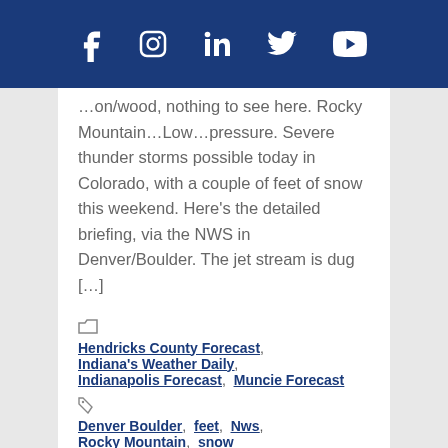Social media icons: Facebook, Instagram, LinkedIn, Twitter, YouTube
…on/wood, nothing to see here. Rocky Mountain…Low…pressure. Severe thunder storms possible today in Colorado, with a couple of feet of snow this weekend. Here's the detailed briefing, via the NWS in Denver/Boulder. The jet stream is dug […]
Hendricks County Forecast, Indiana's Weather Daily, Indianapolis Forecast, Muncie Forecast
Denver Boulder, feet, Nws, Rocky Mountain, snow
February 24, 2016